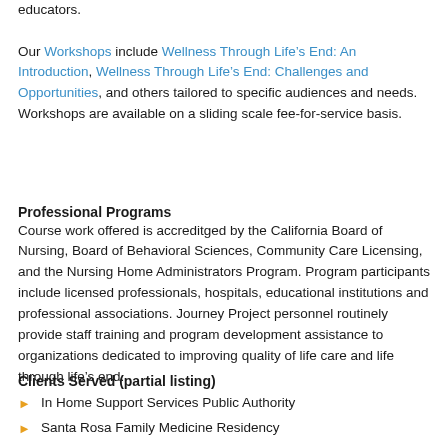educators.
Our Workshops include Wellness Through Life's End: An Introduction, Wellness Through Life's End: Challenges and Opportunities, and others tailored to specific audiences and needs. Workshops are available on a sliding scale fee-for-service basis.
Professional Programs
Course work offered is accreditged by the California Board of Nursing, Board of Behavioral Sciences, Community Care Licensing, and the Nursing Home Administrators Program. Program participants include licensed professionals, hospitals, educational institutions and professional associations. Journey Project personnel routinely provide staff training and program development assistance to organizations dedicated to improving quality of life care and life through life's end.
Clients Served (partial listing)
In Home Support Services Public Authority
Santa Rosa Family Medicine Residency